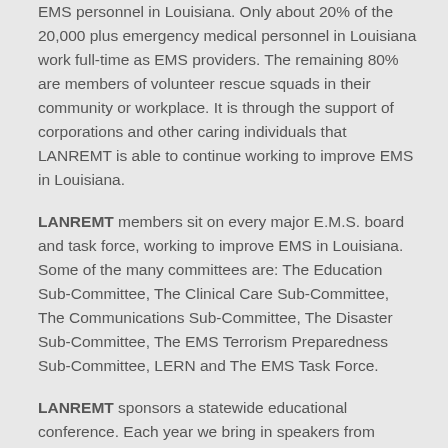EMS personnel in Louisiana. Only about 20% of the 20,000 plus emergency medical personnel in Louisiana work full-time as EMS providers. The remaining 80% are members of volunteer rescue squads in their community or workplace. It is through the support of corporations and other caring individuals that LANREMT is able to continue working to improve EMS in Louisiana.
LANREMT members sit on every major E.M.S. board and task force, working to improve EMS in Louisiana. Some of the many committees are: The Education Sub-Committee, The Clinical Care Sub-Committee, The Communications Sub-Committee, The Disaster Sub-Committee, The EMS Terrorism Preparedness Sub-Committee, LERN and The EMS Task Force.
LANREMT sponsors a statewide educational conference. Each year we bring in speakers from around the country. Select "Annual Conference" for more information. LANREMT members receive a discount on their conference